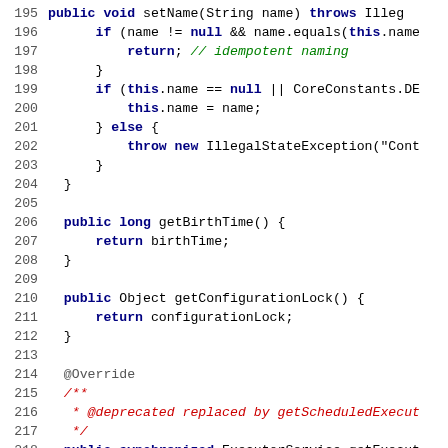[Figure (screenshot): Java source code snippet showing lines 195-222 with syntax highlighting: blue bold keywords, green italic single-line comments, red italic Javadoc comments, and black monospace code text. Line numbers shown on left in grey.]